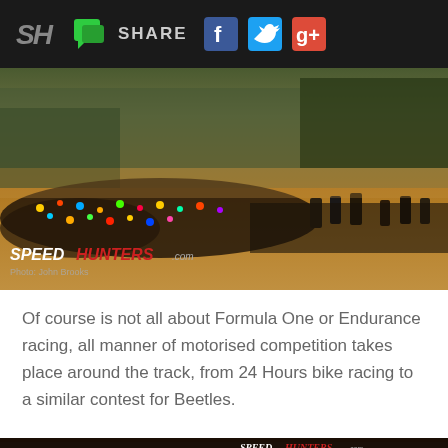SH | SHARE [social icons: Facebook, Twitter, Google+]
[Figure (photo): Wide panoramic photo of a motorcycle racing start line with large crowds of riders and spectators at what appears to be a circuit race track. The SPEEDHUNTERS.com watermark and Photo: John Brooks credit appear in the lower left.]
Of course is not all about Formula One or Endurance racing, all manner of motorised competition takes place around the track, from 24 Hours bike racing to a similar contest for Beetles.
[Figure (photo): Bottom portion of a second Speedhunters photo, partially visible, with the SPEEDHUNTERS.com watermark and Photo: John Brooks credit visible in the upper right of this section.]